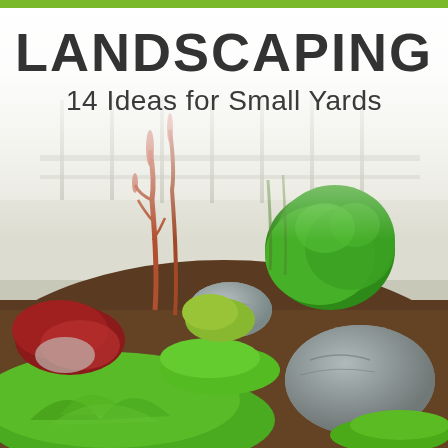[Figure (photo): Outdoor landscaped garden bed with green shrubs, small leafy ground cover plants, decorative gray rocks, red-leafed plants, and tall sparse plants in the background near a fence, foggy/misty backdrop.]
LANDSCAPING
14 Ideas for Small Yards